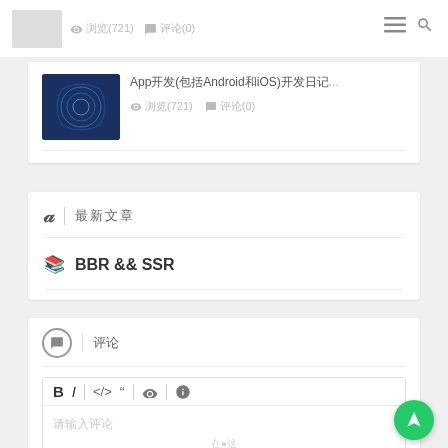App开发(包括Android和iOS)开发日记...
浏览(721)  评论(0)
最新文章
📚 BBR && SSR
评论
请输入评论
https://www.xuwangcheng.com